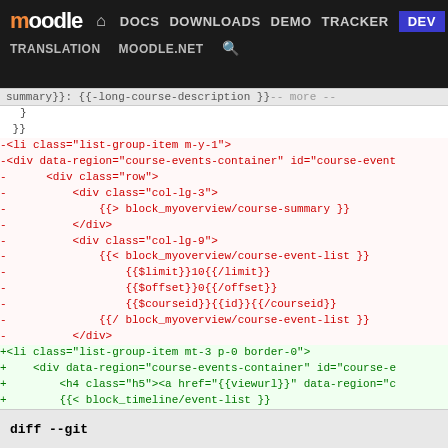moodle | DOCS | DOWNLOADS | DEMO | TRACKER | DEV | TRANSLATION | MOODLE.NET
[Figure (screenshot): Moodle developer site navigation bar with logo and links: DOCS, DOWNLOADS, DEMO, TRACKER, DEV (active/highlighted), TRANSLATION, MOODLE.NET, search icon]
Diff code block showing removed lines (red) and added lines (green) for a Moodle template diff. Removed lines replace list-group-item m-y-1 with list-group-item mt-3 p-0 border-0, and replace course-event-list template with block_timeline/event-list template.
diff --git